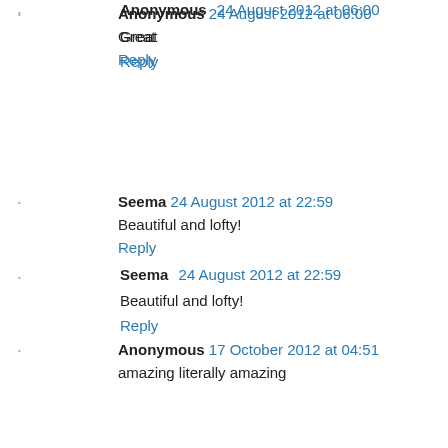Anonymous 24 August 2012 at 06:00
Great
Reply
Seema 24 August 2012 at 22:59
Beautiful and lofty!
Reply
Anonymous 17 October 2012 at 04:51
amazing literally amazing
Reply
Mohd Zafar 23 October 2012 at 10:49
bht khoob ...............